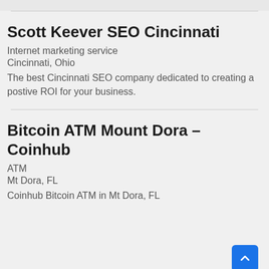Scott Keever SEO Cincinnati
Internet marketing service
Cincinnati, Ohio
The best Cincinnati SEO company dedicated to creating a postive ROI for your business.
Bitcoin ATM Mount Dora – Coinhub
ATM
Mt Dora, FL
Coinhub Bitcoin ATM in Mt Dora, FL